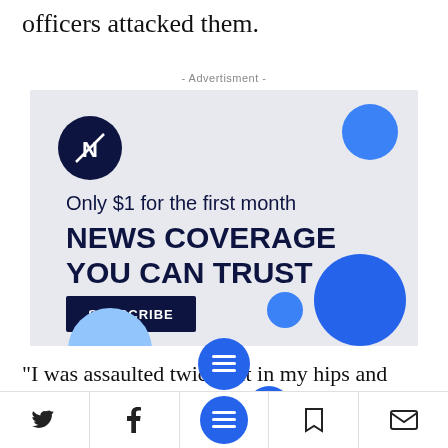officers attacked them.
- Advertisment -
[Figure (illustration): Advertisement banner: dark circle logo with N icon top-left, blue circles decorative top-right and bottom-right, text 'Only $1 for the first month', bold 'NEWS COVERAGE YOU CAN TRUST', dark 'SUBSCRIBE' button, smaller blue circles decorative, light blue partial circle bottom-left. Background light gray.]
"I was assaulted twice, hit in my hips and legs. The police didn't res[pect o]ur right to protest
Twitter | Facebook | Menu | Bookmark | Email